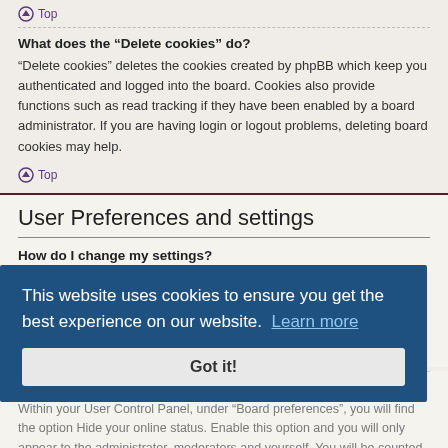Top
What does the “Delete cookies” do?
“Delete cookies” deletes the cookies created by phpBB which keep you authenticated and logged into the board. Cookies also provide functions such as read tracking if they have been enabled by a board administrator. If you are having login or logout problems, deleting board cookies may help.
Top
User Preferences and settings
How do I change my settings?
If you are a registered user, all your settings are stored in the board database. To alter them, visit your User Control Panel; a link can usually be found by clicking on your username at the top of board pages. This system will allow you to change all your settings and preferences.
How do I prevent my username appearing in the online user listings? Within your User Control Panel, under “Board preferences”, you will find the option Hide your online status. Enable this option and you will only appear to the administrator, moderators and yourself. You will be counted as a hidden user.
This website uses cookies to ensure you get the best experience on our website. Learn more
Got it!